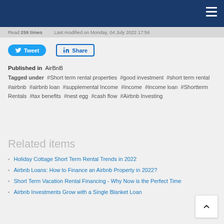Read 259 times   Last modified on Monday, 04 July 2022 17:56
Published in AirBnB
Tagged under #Short term rental properties #good investment #short term rental #airbnb #airbnb loan #supplemental Income #income #income loan #Shortterm Rentals #tax benefits #nest egg #cash flow #Airbnb Investing
Related items
Holiday Cottage Short Term Rental Trends in 2022
Airbnb Loans: How to Finance an Airbnb Property in 2022?
Short Term Vacation Rental Financing - Why Now is the Perfect Time
Airbnb Investments Grow with a Single Blanket Loan